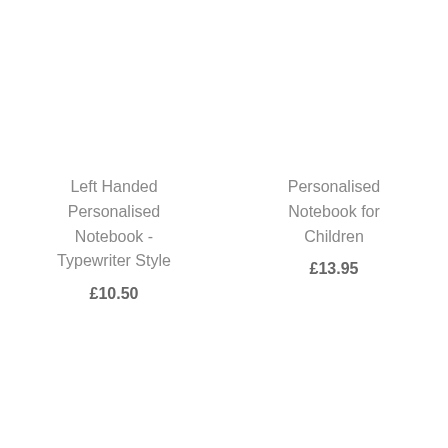Left Handed Personalised Notebook - Typewriter Style
£10.50
Personalised Notebook for Children
£13.95